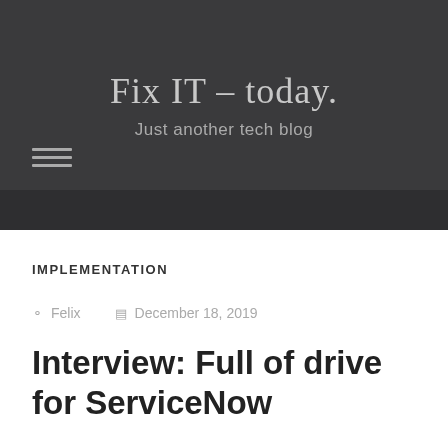Fix IT – today.
Just another tech blog
IMPLEMENTATION
Felix   December 18, 2019
Interview: Full of drive for ServiceNow